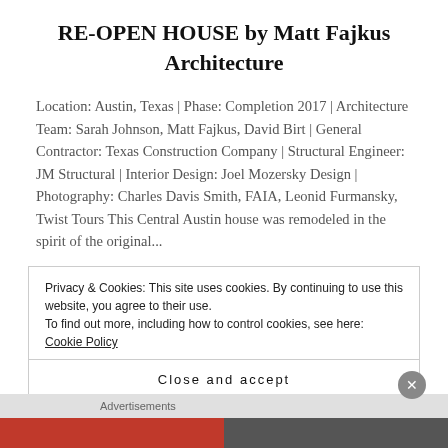RE-OPEN HOUSE by Matt Fajkus Architecture
Location: Austin, Texas | Phase: Completion 2017 | Architecture Team: Sarah Johnson, Matt Fajkus, David Birt | General Contractor: Texas Construction Company | Structural Engineer: JM Structural | Interior Design: Joel Mozersky Design | Photography: Charles Davis Smith, FAIA, Leonid Furmansky, Twist Tours This Central Austin house was remodeled in the spirit of the original...
Privacy & Cookies: This site uses cookies. By continuing to use this website, you agree to their use.
To find out more, including how to control cookies, see here: Cookie Policy
Close and accept
Advertisements